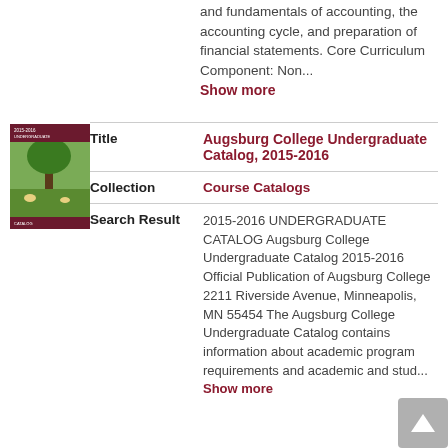and fundamentals of accounting, the accounting cycle, and preparation of financial statements. Core Curriculum Component: Non... Show more
[Figure (photo): Book cover of Augsburg College Undergraduate Catalog 2015-2016, showing students outdoors under a tree]
| Field | Value |
| --- | --- |
| Title | Augsburg College Undergraduate Catalog, 2015-2016 |
| Collection | Course Catalogs |
| Search Result | 2015-2016 UNDERGRADUATE CATALOG Augsburg College Undergraduate Catalog 2015-2016 Official Publication of Augsburg College 2211 Riverside Avenue, Minneapolis, MN 55454 The Augsburg College Undergraduate Catalog contains information about academic program requirements and academic and stud... Show more |